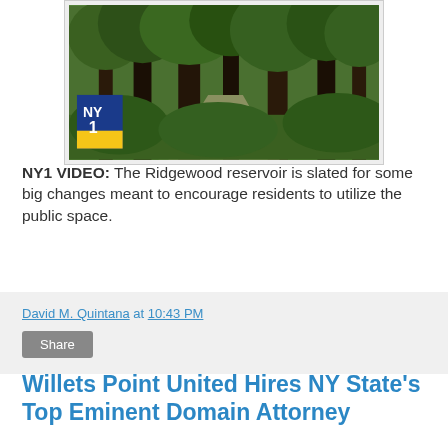[Figure (screenshot): NY1 video thumbnail showing a forested path with trees and greenery, NY1 logo in lower left corner]
NY1 VIDEO: The Ridgewood reservoir is slated for some big changes meant to encourage residents to utilize the public space.
David M. Quintana at 10:43 PM
Share
Willets Point United Hires NY State's Top Eminent Domain Attorney